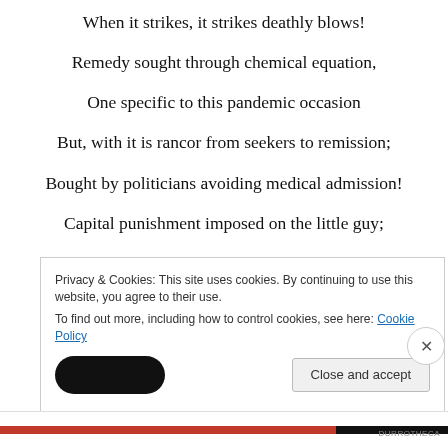When it strikes, it strikes deathly blows!
Remedy sought through chemical equation,
One specific to this pandemic occasion
But, with it is rancor from seekers to remission;
Bought by politicians avoiding medical admission!
Capital punishment imposed on the little guy;
Be it personal, or a business just out to try;
Privacy & Cookies: This site uses cookies. By continuing to use this website, you agree to their use.
To find out more, including how to control cookies, see here: Cookie Policy